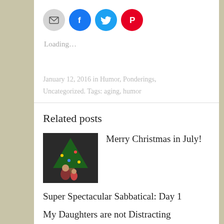[Figure (other): Four circular social share buttons: email (gray), Facebook (blue), Twitter (light blue), Pinterest (red)]
Loading…
January 12, 2016 in Humor, Ponderings, Uncategorized. Tags: aging, humor
Related posts
[Figure (photo): Small thumbnail photo showing two people near a Christmas tree]
Merry Christmas in July!
Super Spectacular Sabbatical: Day 1
My Daughters are not Distracting
← Star Gazers
Reading the